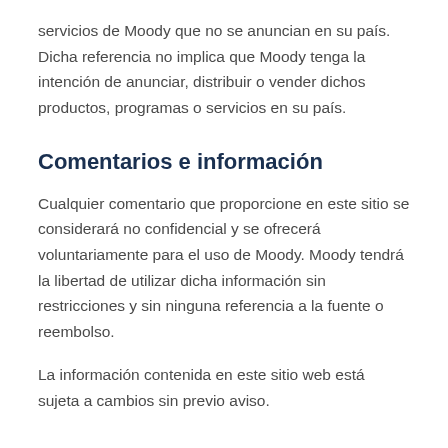servicios de Moody que no se anuncian en su país. Dicha referencia no implica que Moody tenga la intención de anunciar, distribuir o vender dichos productos, programas o servicios en su país.
Comentarios e información
Cualquier comentario que proporcione en este sitio se considerará no confidencial y se ofrecerá voluntariamente para el uso de Moody. Moody tendrá la libertad de utilizar dicha información sin restricciones y sin ninguna referencia a la fuente o reembolso.
La información contenida en este sitio web está sujeta a cambios sin previo aviso.